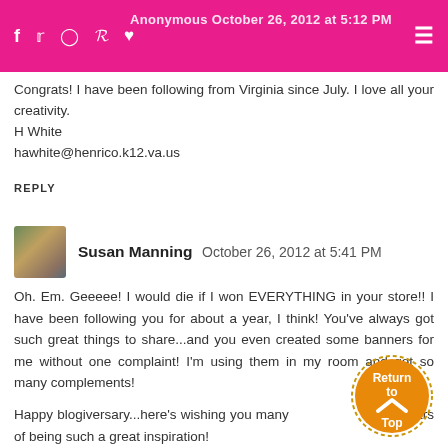Navigation bar with social icons (Facebook, Twitter, Instagram, Pinterest, Heart) and hamburger menu on pink background
Congrats! I have been following from Virginia since July. I love all your creativity.
H White
hawhite@henrico.k12.va.us
REPLY
Susan Manning October 26, 2012 at 5:41 PM
Oh. Em. Geeeee! I would die if I won EVERYTHING in your store!! I have been following you for about a year, I think! You've always got such great things to share...and you even created some banners for me without one complaint! I'm using them in my room and get so many complements!

Happy blogiversary...here's wishing you many more years of being such a great inspiration!
[Figure (other): Orange circular 'Return to Top' button with chevron up arrow and dotted border]